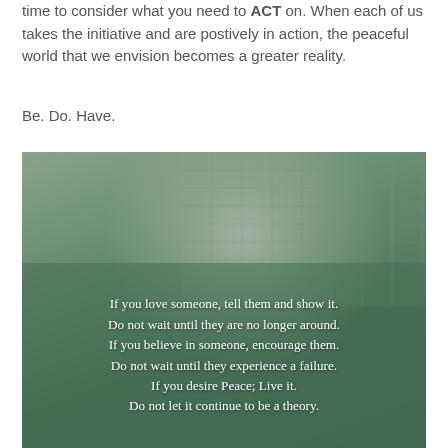time to consider what you need to ACT on. When each of us takes the initiative and are postively in action, the peaceful world that we envision becomes a greater reality.
Be. Do. Have.
[Figure (photo): A photo of a plant near window blinds with bright sunlight shining through, overlaid with a semi-transparent green panel containing white inspirational quote text: 'If you love someone, tell them and show it. Do not wait until they are no longer around. If you believe in someone, encourage them. Do not wait until they experience a failure. If you desire Peace; Live it. Do not let it continue to be a theory.']